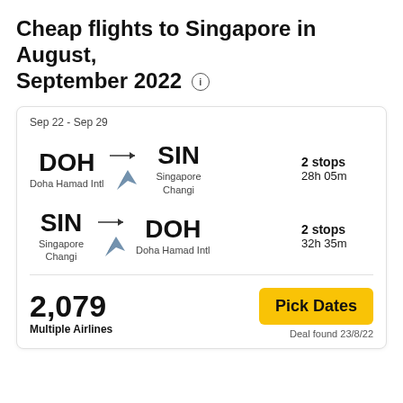Cheap flights to Singapore in August, September 2022
Sep 22 - Sep 29
DOH → SIN
Doha Hamad Intl → Singapore Changi
2 stops
28h 05m
SIN → DOH
Singapore Changi → Doha Hamad Intl
2 stops
32h 35m
2,079
Multiple Airlines
Pick Dates
Deal found 23/8/22